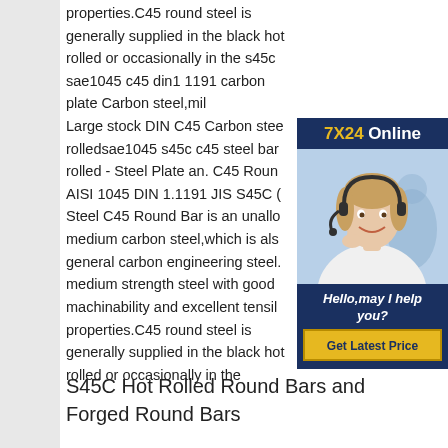properties.C45 round steel is generally supplied in the black hot rolled or occasionally in the s45c sae1045 c45 din1 1191 carbon plate Carbon steel,mil... Large stock DIN C45 Carbon stee... rolledsae1045 s45c c45 steel bar... rolled - Steel Plate an. C45 Roun... AISI 1045 DIN 1.1191 JIS S45C ... Steel C45 Round Bar is an unallo... medium carbon steel,which is als... general carbon engineering steel... medium strength steel with good ... machinability and excellent tensil... properties.C45 round steel is generally supplied in the black hot rolled or occasionally in the
[Figure (other): Chat widget showing '7X24 Online' header in dark blue with gold and white text, a photo of a woman with a headset smiling, a message 'Hello, may I help you?' and a 'Get Latest Price' button in gold.]
S45C Hot Rolled Round Bars and Forged Round Bars